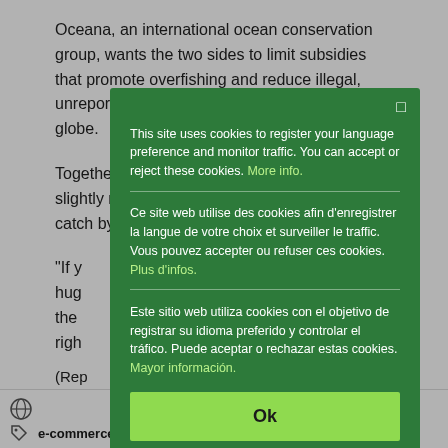Oceana, an international ocean conservation group, wants the two sides to limit subsidies that promote overfishing and reduce illegal, unreported and unregulated fishing around the globe.
Together, the U.S. and the EU account for slightly more than 16 percent of the global catch by weight and are in the top five imp...
"If y... hug... the... righ...
(Rep... Gre...
[Figure (screenshot): Cookie consent modal overlay with green background. Contains three language versions of cookie notice (English, French, Spanish) each with a 'more info' link, separated by dividers, and a large green 'Ok' button at the bottom. A close button (square icon) is in the top right.]
e-commerce | digital economy   environment   food